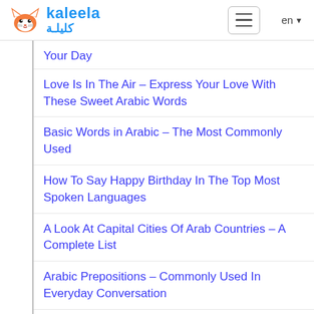kaleela كليلة
Your Day
Love Is In The Air – Express Your Love With These Sweet Arabic Words
Basic Words in Arabic – The Most Commonly Used
How To Say Happy Birthday In The Top Most Spoken Languages
A Look At Capital Cities Of Arab Countries – A Complete List
Arabic Prepositions – Commonly Used In Everyday Conversation
Common Arabic Words For Feelings And Emotions
Animals In Arabic Language – Names And Special Meanings